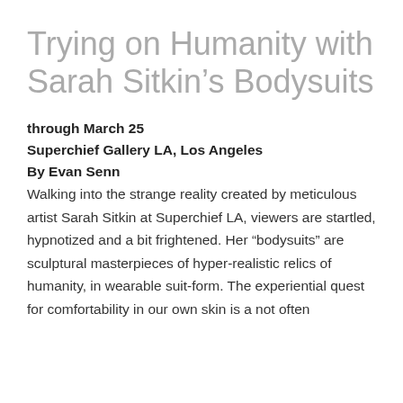Trying on Humanity with Sarah Sitkin’s Bodysuits
through March 25
Superchief Gallery LA, Los Angeles
By Evan Senn
Walking into the strange reality created by meticulous artist Sarah Sitkin at Superchief LA, viewers are startled, hypnotized and a bit frightened. Her “bodysuits” are sculptural masterpieces of hyper-realistic relics of humanity, in wearable suit-form. The experiential quest for comfortability in our own skin is a not often